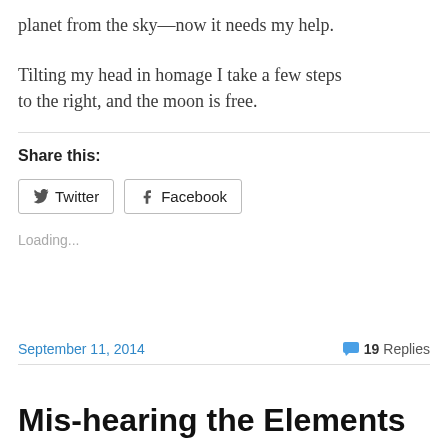planet from the sky—now it needs my help.

Tilting my head in homage I take a few steps to the right, and the moon is free.
Share this:
Loading...
September 11, 2014   💬 19 Replies
Mis-hearing the Elements